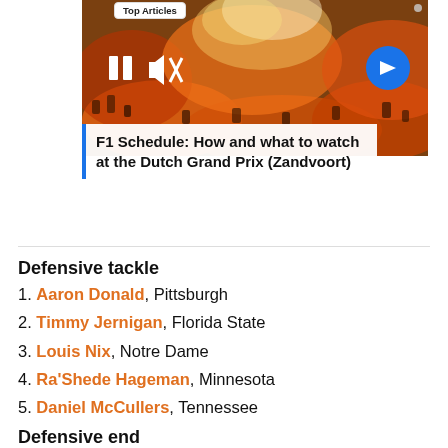[Figure (photo): Crowd of people in orange colors, appears to be a sports event, with video playback controls (pause, mute, next arrow) overlaid. Article thumbnail for F1 Schedule article.]
F1 Schedule: How and what to watch at the Dutch Grand Prix (Zandvoort)
Defensive tackle
1. Aaron Donald, Pittsburgh
2. Timmy Jernigan, Florida State
3. Louis Nix, Notre Dame
4. Ra'Shede Hageman, Minnesota
5. Daniel McCullers, Tennessee
Defensive end
1. Jadeveon Clowney, South Carolina